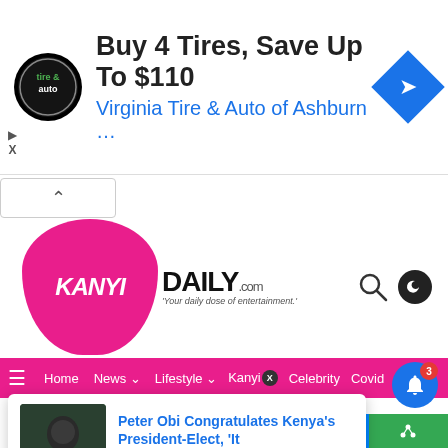[Figure (screenshot): Advertisement banner for Virginia Tire & Auto of Ashburn. Circular logo on left, bold text 'Buy 4 Tires, Save Up To $110', blue text 'Virginia Tire & Auto of Ashburn ...', blue diamond arrow icon on right.]
[Figure (logo): KanyiDaily.com logo — pink shield shape with 'KANYI' in white italic, 'DAILY.com' in black bold, tagline 'Your daily dose of entertainment.' Search icon and dark mode toggle on right.]
Home  News  Lifestyle  Kanyi  Celebrity  Covid
[Figure (screenshot): Article card: thumbnail of Peter Obi, title 'Peter Obi Congratulates Kenya's President-Elect, "It', timestamp '5 hours ago']
100 Shares
[Figure (screenshot): Social share buttons: Facebook, Twitter, WhatsApp, Messenger, and green share button. Notification bell with badge count 3.]